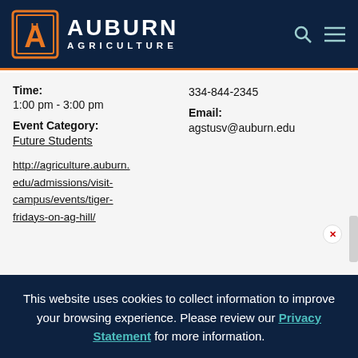[Figure (logo): Auburn Agriculture university header logo with navy background]
Time:
1:00 pm - 3:00 pm
Event Category:
Future Students
http://agriculture.auburn.edu/admissions/visit-campus/events/tiger-fridays-on-ag-hill/
334-844-2345
Email:
agstusv@auburn.edu
This website uses cookies to collect information to improve your browsing experience. Please review our Privacy Statement for more information.